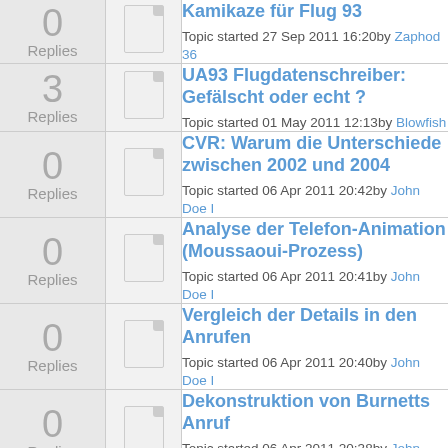| Replies | Icon | Topic |
| --- | --- | --- |
| 0 Replies |  | Kamikaze für Flug 93
Topic started 27 Sep 2011 16:20by Zaphod 36 |
| 3 Replies |  | UA93 Flugdatenschreiber: Gefälscht oder echt ?
Topic started 01 May 2011 12:13by Blowfish |
| 0 Replies |  | CVR: Warum die Unterschiede zwischen 2002 und 2004
Topic started 06 Apr 2011 20:42by John Doe I |
| 0 Replies |  | Analyse der Telefon-Animation (Moussaoui-Prozess)
Topic started 06 Apr 2011 20:41by John Doe I |
| 0 Replies |  | Vergleich der Details in den Anrufen
Topic started 06 Apr 2011 20:40by John Doe I |
| 0 Replies |  | Dekonstruktion von Burnetts Anruf
Topic started 06 Apr 2011 20:38by John Doe I |
| 0 Replies |  | Dekonstruktion von Jeremy |